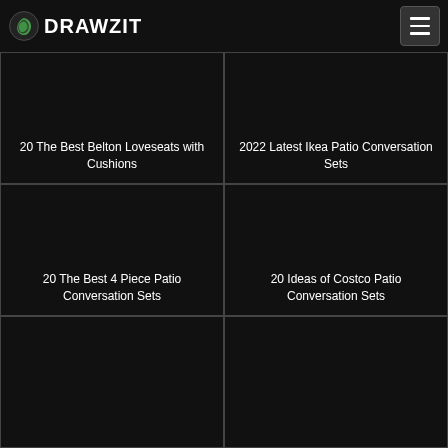DRAWZIT
[Figure (photo): Dark image card - 20 The Best Belton Loveseats with Cushions]
20 The Best Belton Loveseats with Cushions
[Figure (photo): Dark image card - 2022 Latest Ikea Patio Conversation Sets]
2022 Latest Ikea Patio Conversation Sets
[Figure (photo): Dark image card - 20 The Best 4 Piece Patio Conversation Sets]
20 The Best 4 Piece Patio Conversation Sets
[Figure (photo): Dark image card - 20 Ideas of Costco Patio Conversation Sets]
20 Ideas of Costco Patio Conversation Sets
[Figure (photo): Dark image card - partial, bottom row left]
[Figure (photo): Dark image card - partial, bottom row right]